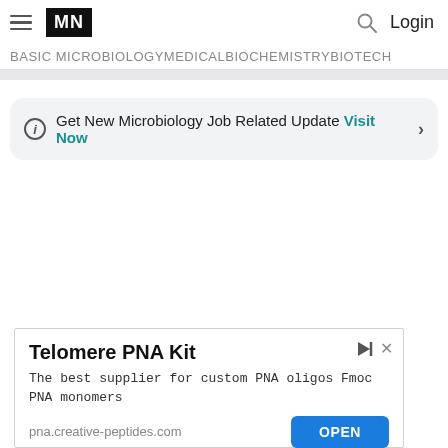MN | Login
BASIC MICROBIOLOGYMEDICALBIOCHEMISTRYBIOTECH
ⓘ Get New Microbiology Job Related Update Visit Now >
[Figure (screenshot): Advertisement for Telomere PNA Kit. Title: Telomere PNA Kit. Body: The best supplier for custom PNA oligos Fmoc PNA monomers. Domain: pna.creative-peptides.com. Button: OPEN]